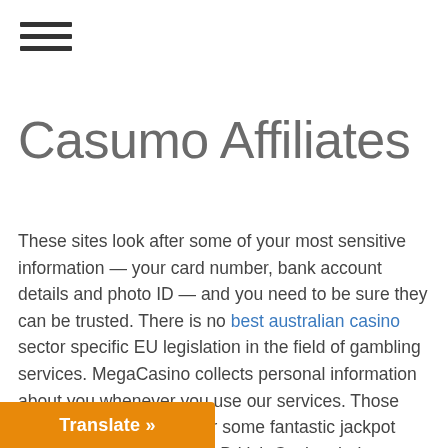[Figure (other): Hamburger menu icon — three horizontal dark lines]
Casumo Affiliates
These sites look after some of your most sensitive information — your card number, bank account details and photo ID — and you need to be sure they can be trusted. There is no best australian casino sector specific EU legislation in the field of gambling services. MegaCasino collects personal information about you whenever you use our services. Those looking to try their luck for some fantastic jackpot prizes should consider All British Casino their next stop. Wagering occurs from real balance first. Customers will also be eligible for existing standard sign up bonuses if they stake an additional £10 on B... or details. You can either build a bankroll a... ore games, or you can cash out and spend
[Figure (other): Orange 'Translate »' button at bottom left]